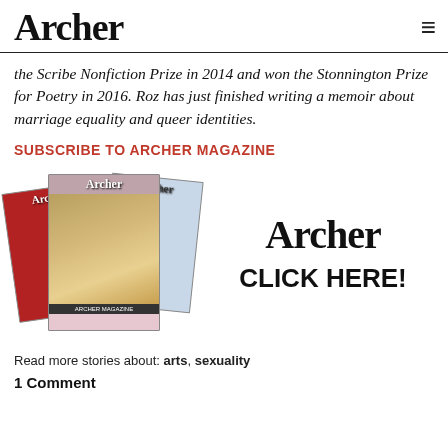Archer
the Scribe Nonfiction Prize in 2014 and won the Stonnington Prize for Poetry in 2016. Roz has just finished writing a memoir about marriage equality and queer identities.
SUBSCRIBE TO ARCHER MAGAZINE
[Figure (illustration): Advertisement banner showing three stacked Archer magazine covers on the left, and the Archer logo with 'CLICK HERE!' text on the right.]
Read more stories about: arts, sexuality
1 Comment